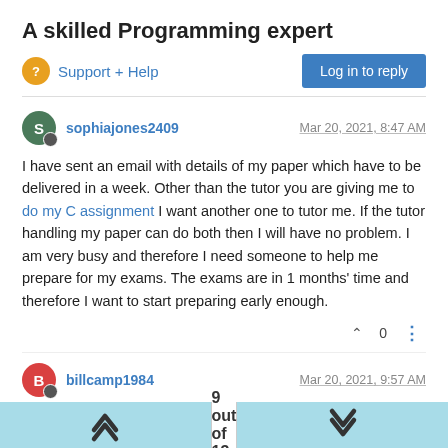A skilled Programming expert
Support + Help
Log in to reply
sophiajones2409
Mar 20, 2021, 8:47 AM
I have sent an email with details of my paper which have to be delivered in a week. Other than the tutor you are giving me to do my C assignment I want another one to tutor me. If the tutor handling my paper can do both then I will have no problem. I am very busy and therefore I need someone to help me prepare for my exams. The exams are in 1 months' time and therefore I want to start preparing early enough.
0
billcamp1984
Mar 20, 2021, 9:57 AM
9 out of 13